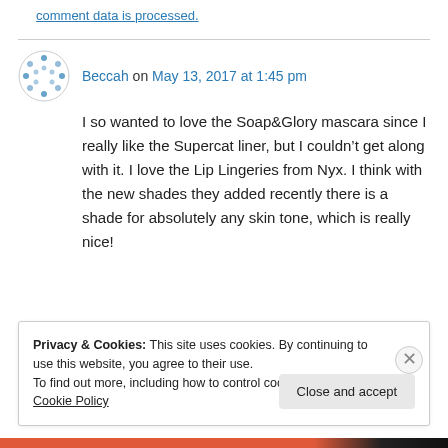comment data is processed.
Beccah on May 13, 2017 at 1:45 pm
I so wanted to love the Soap&Glory mascara since I really like the Supercat liner, but I couldn't get along with it. I love the Lip Lingeries from Nyx. I think with the new shades they added recently there is a shade for absolutely any skin tone, which is really nice!
Privacy & Cookies: This site uses cookies. By continuing to use this website, you agree to their use. To find out more, including how to control cookies, see here: Cookie Policy
Close and accept